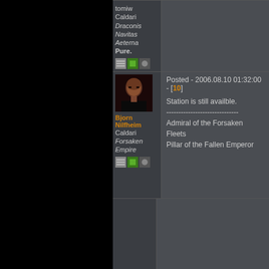tomiw
Caldari
Draconis Navitas Aeterna
Pure.
Posted - 2006.08.10 01:32:00 - [10]
Station is still availble.
------------------------------
Admiral of the Forsaken Fleets
Pillar of the Fallen Emperor
Bjorn Nilfheim
Caldari
Forsaken Empire
Posted - 2006.08.10 12:22:00 - [11]
This station is STOLEN.
Krullz stole it from one of his directors An it for him.
Krullz must need isk to sell on eBay for r